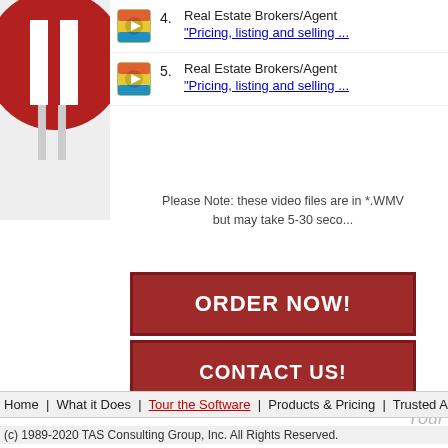[Figure (logo): Red circular logo with white vertical bars, partially visible on left side]
4. Real Estate Brokers/Agent — "Pricing, listing and selling ..."
5. Real Estate Brokers/Agent — "Pricing, listing and selling ..."
Please Note: these video files are in *.WMV but may take 5-30 seco...
ORDER NOW!
CONTACT US!
Your
Home | What it Does | Tour the Software | Products & Pricing | Trusted Advisers
(c) 1989-2020 TAS Consulting Group, Inc. All Rights Reserved.